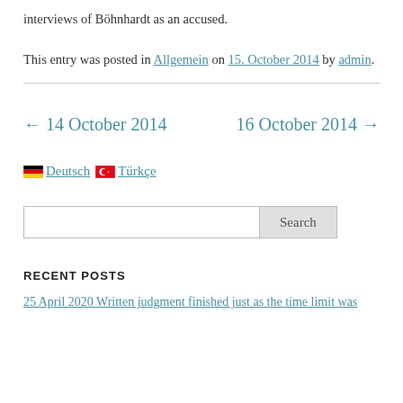interviews of Böhnhardt as an accused.
This entry was posted in Allgemein on 15. October 2014 by admin.
← 14 October 2014   16 October 2014 →
🇩🇪 Deutsch 🇹🇷 Türkçe
Search
RECENT POSTS
25 April 2020 Written judgment finished just as the time limit was